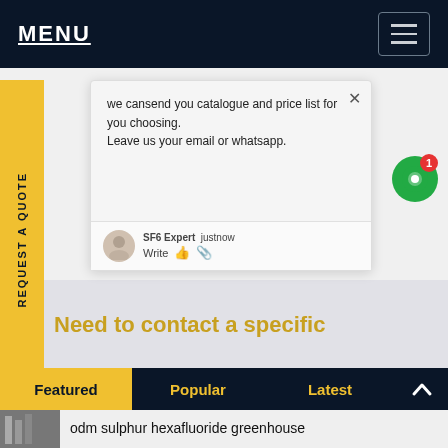MENU
REQUEST A QUOTE
we cansend you catalogue and price list for you choosing.
Leave us your email or whatsapp.
SF6 Expert  justnow
Write
Need to contact a specific
Featured  Popular  Latest
odm sulphur hexafluoride greenhouse